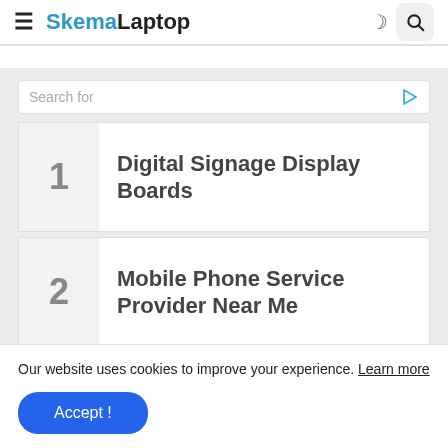SkemaLaptop
1 Digital Signage Display Boards
2 Mobile Phone Service Provider Near Me
Our website uses cookies to improve your experience. Learn more
Accept !